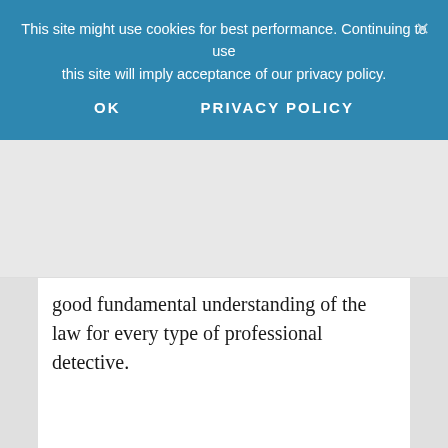This site might use cookies for best performance. Continuing to use this site will imply acceptance of our privacy policy.
OK    PRIVACY POLICY
good fundamental understanding of the law for every type of professional detective.